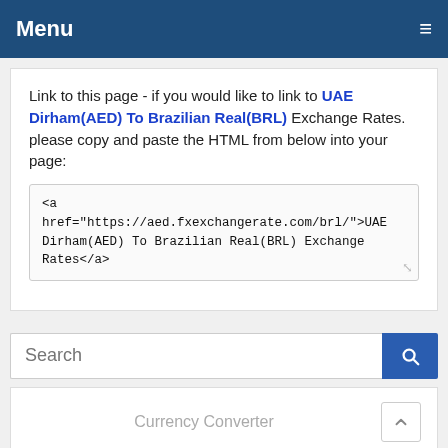Menu ≡
Link to this page - if you would like to link to UAE Dirham(AED) To Brazilian Real(BRL) Exchange Rates. please copy and paste the HTML from below into your page:
<a href="https://aed.fxexchangerate.com/brl/">UAE Dirham(AED) To Brazilian Real(BRL) Exchange Rates</a>
Search
Currency Converter